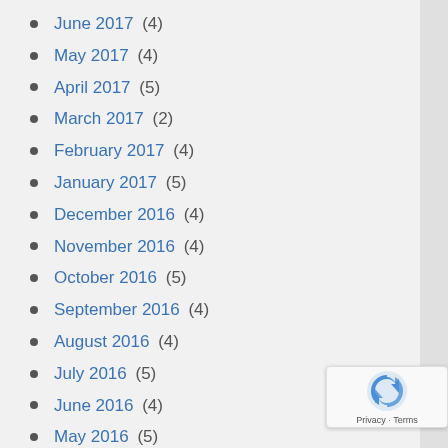June 2017 (4)
May 2017 (4)
April 2017 (5)
March 2017 (2)
February 2017 (4)
January 2017 (5)
December 2016 (4)
November 2016 (4)
October 2016 (5)
September 2016 (4)
August 2016 (4)
July 2016 (5)
June 2016 (4)
May 2016 (5)
April 2016 (4)
March 2016 (4)
February 2016 (4)
January 2016 (5)